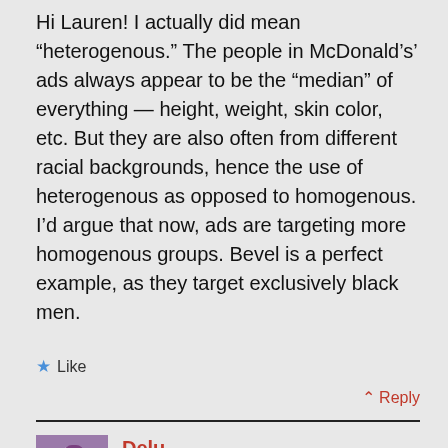Hi Lauren! I actually did mean “heterogenous.” The people in McDonald’s’ ads always appear to be the “median” of everything – height, weight, skin color, etc. But they are also often from different racial backgrounds, hence the use of heterogenous as opposed to homogenous. I’d argue that now, ads are targeting more homogenous groups. Bevel is a perfect example, as they target exclusively black men.
★ Like
∧ Reply
Delu
August 11, 2018 at 5:21 am
Eh… I think you get the direction right, but are too